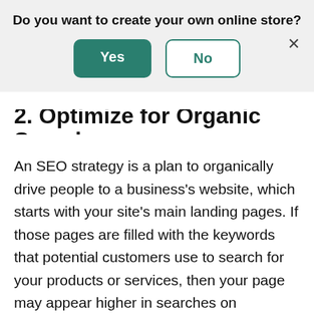[Figure (screenshot): A modal dialog overlay with the question 'Do you want to create your own online store?' and two buttons: a green filled 'Yes' button and a white outlined 'No' button, with an X close button in the top right.]
2. Optimize for Organic Search
An SEO strategy is a plan to organically drive people to a business's website, which starts with your site's main landing pages. If those pages are filled with the keywords that potential customers use to search for your products or services, then your page may appear higher in searches on platforms like Google (the leading search engine) and Bing (the runner-up). Looking beyond keyword optimization, you can also make sure that all of